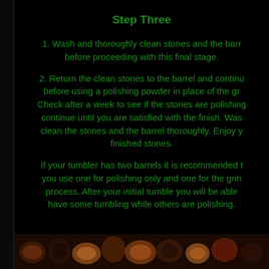Step Three
1. Wash and thoroughly clean stones and the barrel before proceeding with this final stage.
2. Return the clean stones to the barrel and continue before using a polishing powder in place of the grit. Check after a week to see if the stones are polishing continue until you are satisfied with the finish. Wash clean the stones and the barrel thoroughly. Enjoy your finished stones.
If your tumbler has two barrels it is recommended that you use one for polishing only and one for the grinding process. After your initial tumble you will be able to have some tumbling while others are polishing.
[Figure (photo): Close-up photo of tumbled polished stones in various brown, amber and dark colors]